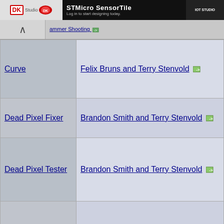[Figure (screenshot): Banner advertisement for STMicro SensorTile IOT Studio. Dark background with logos and text: 'STMicro SensorTile', 'Log in to start designing today.', 'IOT STUDIO']
| Name | Author |
| --- | --- |
| Curve | Felix Bruns and Terry Stenvold -> |
| Dead Pixel Fixer | Brandon Smith and Terry Stenvold -> |
| Dead Pixel Tester | Brandon Smith and Terry Stenvold -> |
| Dialer | Scott Lawrence -> |
|  |  |